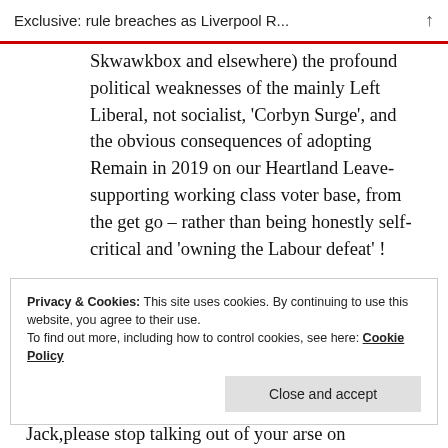Exclusive: rule breaches as Liverpool R... ↑
Skwawkbox and elsewhere) the profound political weaknesses of the mainly Left Liberal, not socialist, 'Corbyn Surge', and the obvious consequences of adopting Remain in 2019 on our Heartland Leave-supporting working class voter base, from the get go – rather than being honestly self-critical and 'owning the Labour defeat' !
Privacy & Cookies: This site uses cookies. By continuing to use this website, you agree to their use.
To find out more, including how to control cookies, see here: Cookie Policy
[Close and accept]
Jack,please stop talking out of your arse on